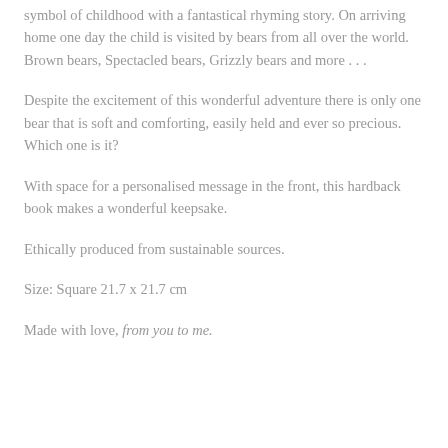symbol of childhood with a fantastical rhyming story. On arriving home one day the child is visited by bears from all over the world. Brown bears, Spectacled bears, Grizzly bears and more . . .
Despite the excitement of this wonderful adventure there is only one bear that is soft and comforting, easily held and ever so precious. Which one is it?
With space for a personalised message in the front, this hardback book makes a wonderful keepsake.
Ethically produced from sustainable sources.
Size: Square 21.7 x 21.7 cm
Made with love, from you to me.